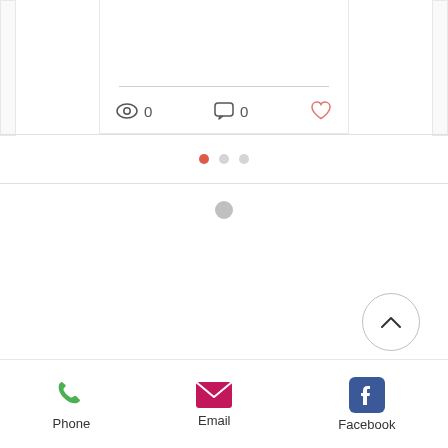[Figure (screenshot): Card with eye icon showing 0 views, chat bubble showing 0 comments, and a heart icon]
[Figure (infographic): Three pagination dots: first dot is red/active, second and third are light gray]
[Figure (infographic): A small gray loading circle]
[Figure (infographic): Back-to-top button: circle with upward chevron arrow]
[Figure (infographic): Footer bar with Phone (green phone icon), Email (pink envelope icon), Facebook (blue Facebook icon)]